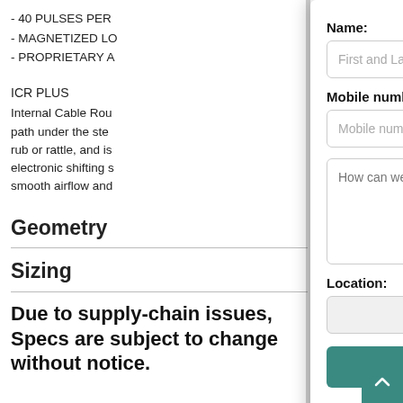- 40 PULSES PER…
- MAGNETIZED LO…
- PROPRIETARY A…
ICR PLUS
Internal Cable Rou… path under the ste… rub or rattle, and is… electronic shifting s… smooth airflow and…
Geometry
Sizing
[Figure (screenshot): Contact form modal overlay with fields: Name (First and Last Name), Mobile number, message textarea (How can we help you?), Location dropdown, Send Text button, and Powered by Ikeono branding.]
Due to supply-chain issues, Specs are subject to change without notice.